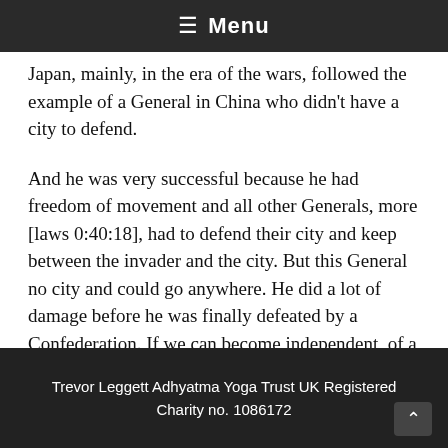≡ Menu
Japan, mainly, in the era of the wars, followed the example of a General in China who didn't have a city to defend.
And he was very successful because he had freedom of movement and all other Generals, more [laws 0:40:18], had to defend their city and keep between the invader and the city. But this General no city and could go anywhere. He did a lot of damage before he was finally defeated by a Confederation. If we can become independent, of a particular set up which we feel we must defend at
Trevor Leggett Adhyatma Yoga Trust UK Registered Charity no. 1086172